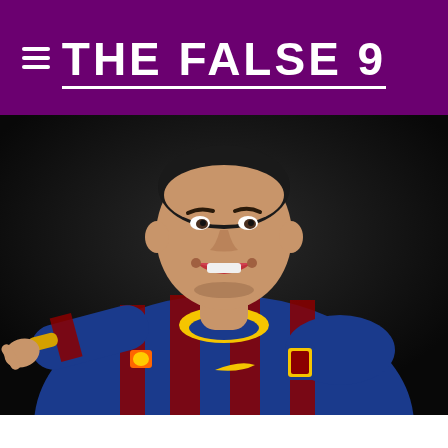THE FALSE 9
[Figure (photo): A male football player wearing a FC Barcelona blue and red striped jersey with yellow collar and Nike logo, pointing forward with his left arm outstretched, mouth open as if celebrating, shot against a dark background.]